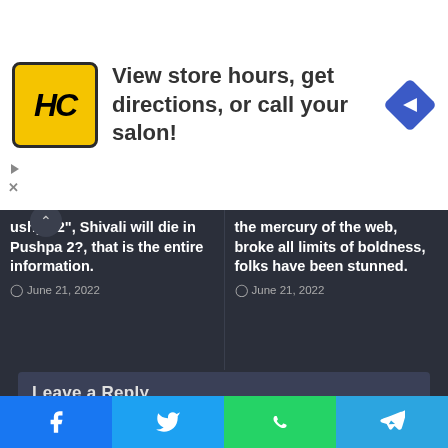[Figure (infographic): Advertisement banner with HC logo (yellow background with black HC text in circle), text 'View store hours, get directions, or call your salon!' and a blue navigation/directions diamond icon on the right. Small play and X controls visible at bottom-left.]
ushpa 2", Shivali will die in Pushpa 2?, that is the entire information.
June 21, 2022
the mercury of the web, broke all limits of boldness, folks have been stunned.
June 21, 2022
Leave a Reply
Your email address will not be published. Required fields are marked *
Facebook  Twitter  WhatsApp  Telegram